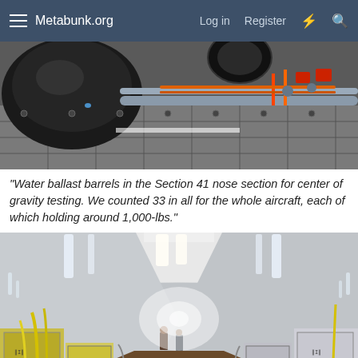Metabunk.org  Log in  Register
[Figure (photo): Water ballast barrels in aircraft Section 41 nose section, showing large black spherical tanks with gray PVC pipes and orange wiring/tubing on aircraft floor panels]
"Water ballast barrels in the Section 41 nose section for center of gravity testing. We counted 33 in all for the whole aircraft, each of which holding around 1,000-lbs."
[Figure (photo): Interior of aircraft fuselage showing long tunnel-like cabin with white ceiling, fluorescent lights, equipment racks and test apparatus on both sides, two workers visible in the distance, with yellow tubing and cables visible]